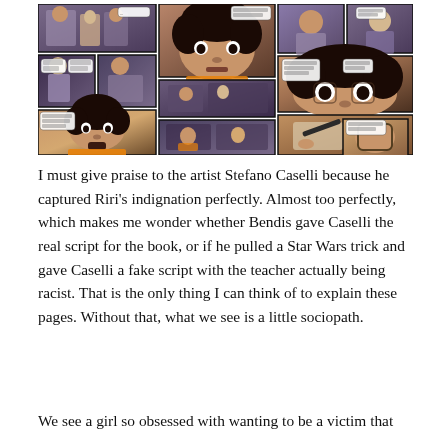[Figure (illustration): A collage of comic book panels showing a young Black girl (Riri Williams) in various scenes, including classroom settings and close-up facial expressions showing indignation. An older white female teacher is also depicted. The art style is realistic comic book illustration with purple/dark color tones.]
I must give praise to the artist Stefano Caselli because he captured Riri's indignation perfectly. Almost too perfectly, which makes me wonder whether Bendis gave Caselli the real script for the book, or if he pulled a Star Wars trick and gave Caselli a fake script with the teacher actually being racist. That is the only thing I can think of to explain these pages. Without that, what we see is a little sociopath.
We see a girl so obsessed with wanting to be a victim that